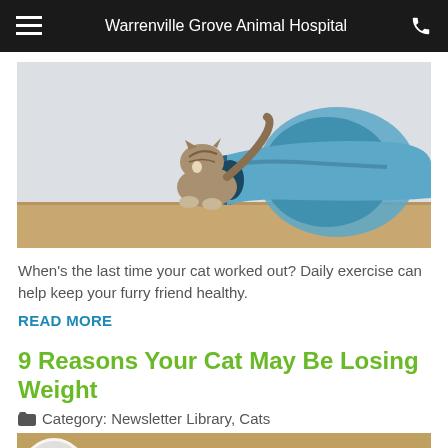Warrenville Grove Animal Hospital
[Figure (photo): A tabby cat emerging from a blue collapsible pet tunnel toy on a light background with a wooden floor.]
When's the last time your cat worked out? Daily exercise can help keep your furry friend healthy.
READ MORE
9 Reasons Your Cat May Be Losing Weight
Category: Newsletter Library, Cats
[Figure (photo): Close-up photo of a tabby cat's face with blue-green eyes, partially visible with a circular badge/icon on the left side.]